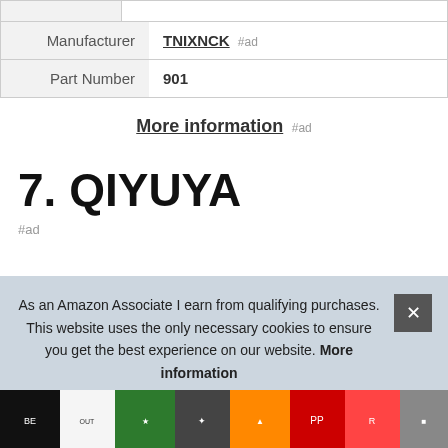|  |  |
| --- | --- |
| Manufacturer | TNIXNCK #ad |
| Part Number | 901 |
More information #ad
7. QIYUYA
#ad
As an Amazon Associate I earn from qualifying purchases. This website uses the only necessary cookies to ensure you get the best experience on our website. More information
[Figure (photo): Strip of product images at the bottom of the page]